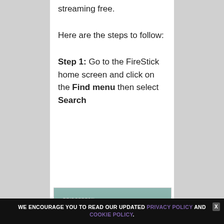streaming free.
Here are the steps to follow:
Step 1: Go to the FireStick home screen and click on the Find menu then select Search
[Figure (screenshot): Screenshot of FireStick home screen showing Bridgerton Netflix banner at top and app grid below with Search, Free, Movies, TV Shows, and Amazon tiles]
WE ENCOURAGE YOU TO READ OUR UPDATED PRIVACY POLICY AND COOKIE POLICY.